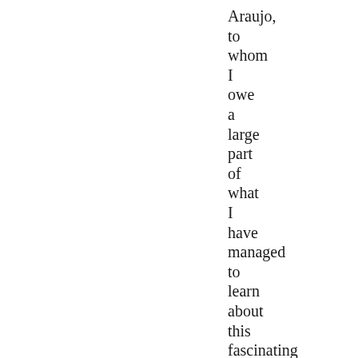Araujo, to whom I owe a large part of what I have managed to learn about this fascinating subject of the